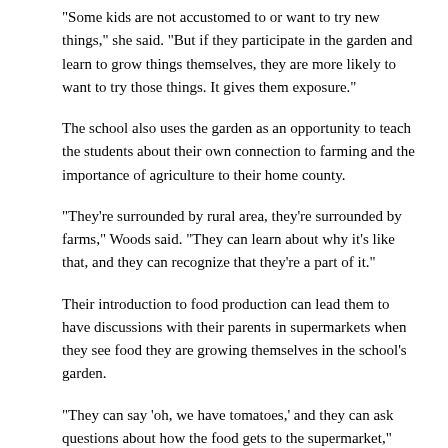"Some kids are not accustomed to or want to try new things," she said. "But if they participate in the garden and learn to grow things themselves, they are more likely to want to try those things. It gives them exposure."
The school also uses the garden as an opportunity to teach the students about their own connection to farming and the importance of agriculture to their home county.
"They're surrounded by rural area, they're surrounded by farms," Woods said. "They can learn about why it's like that, and they can recognize that they're a part of it."
Their introduction to food production can lead them to have discussions with their parents in supermarkets when they see food they are growing themselves in the school's garden.
"They can say 'oh, we have tomatoes,' and they can ask questions about how the food gets to the supermarket," Woods said. "They can